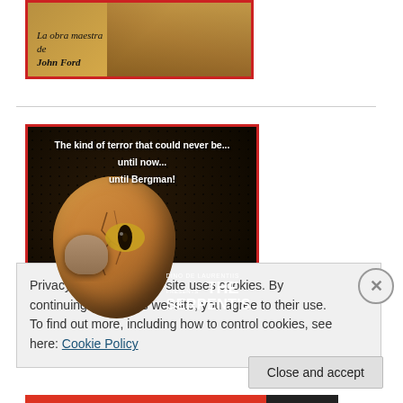[Figure (photo): Top movie poster fragment with red border, sepia/golden tones showing figures, with italic text 'La obra maestra de John Ford']
[Figure (photo): Movie poster for 'The Serpent's Egg' directed by Bergman, produced by Dino De Laurentiis. Dark background with snake scale texture, large cracked egg with reptile eye emerging, man's face below. Text: 'The kind of terror that could never be... until now... until Bergman!' and 'DINO DE LAURENTIIS PRESENTS THE SERPENT'S']
Privacy & Cookies: This site uses cookies. By continuing to use this website, you agree to their use.
To find out more, including how to control cookies, see here: Cookie Policy
Close and accept